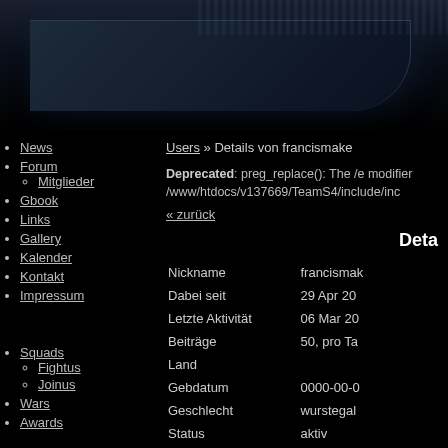[Figure (screenshot): Dark header banner with gradient background, curved panel element, and horizontal striped pattern on right side]
Users » Details von francismake
Deprecated: preg_replace(): The /e modifier /www/htdocs/v137669/TeamS4/include/inc...
« zurück
Deta
News
Forum
Mitglieder
Gbook
Links
Gallery
Kalender
Kontakt
Impressum
Squads
Fightus
Joinus
Wars
Awards
| Field | Value |
| --- | --- |
| Nickname | francismak |
| Dabei seit | 29 Apr 20 |
| Letzte Aktivität | 06 Mar 20 |
| Beiträge | 50, pro Ta |
| Land |  |
| Gebdatum | 0000-00-0 |
| Geschlecht | wurstegal |
| Status | aktiv |
| Wohnort |  |